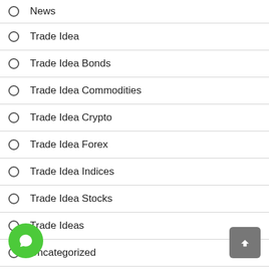News
Trade Idea
Trade Idea Bonds
Trade Idea Commodities
Trade Idea Crypto
Trade Idea Forex
Trade Idea Indices
Trade Idea Stocks
Trade Ideas
Uncategorized